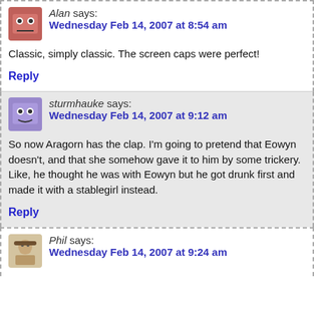Alan says: Wednesday Feb 14, 2007 at 8:54 am
Classic, simply classic. The screen caps were perfect!
Reply
sturmhauke says: Wednesday Feb 14, 2007 at 9:12 am
So now Aragorn has the clap. I'm going to pretend that Eowyn doesn't, and that she somehow gave it to him by some trickery. Like, he thought he was with Eowyn but he got drunk first and made it with a stablegirl instead.
Reply
Phil says: Wednesday Feb 14, 2007 at 9:24 am